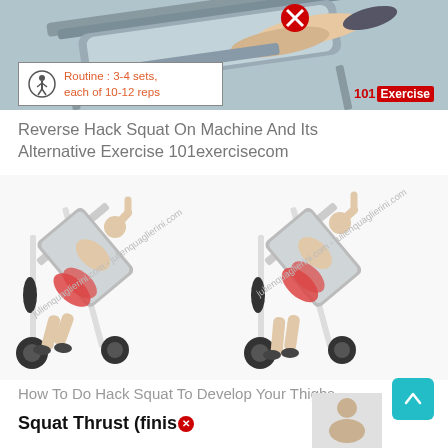[Figure (illustration): Reverse hack squat machine with person using it, top portion visible, red X circle overlay. Shown at angle with person lying on inclined machine.]
Routine : 3-4 sets, each of 10-12 reps
101Exercise
Reverse Hack Squat On Machine And Its Alternative Exercise 101exercisecom
[Figure (illustration): Two side-by-side illustrations of a person performing hack squat on a machine, showing start and end positions. Quadriceps and hamstrings highlighted in red. Watermark: julienquaglierini.com]
How To Do Hack Squat To Develop Your Thighs
Squat Thrust (finisⓧ
[Figure (illustration): Small bottom-right figure showing squat thrust exercise position, partially visible.]